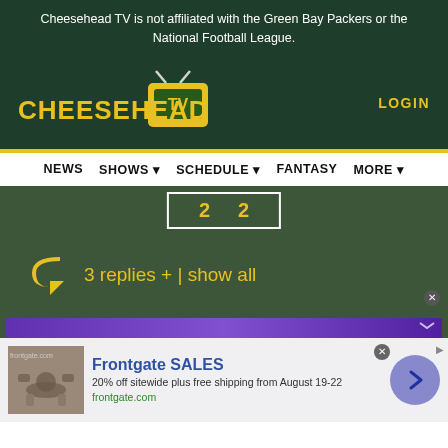Cheesehead TV is not affiliated with the Green Bay Packers or the National Football League.
[Figure (logo): Cheesehead TV logo with yellow text and TV icon]
LOGIN
NEWS   SHOWS ▾   SCHEDULE ▾   FANTASY   MORE ▾
[Figure (screenshot): Score box showing two numbers, partially visible]
3 replies +  | show all
[Figure (screenshot): Purple banner strip at bottom of content area]
[Figure (photo): Advertisement image showing outdoor furniture with fire pit]
Frontgate SALES
20% off sitewide plus free shipping from August 19-22
frontgate.com